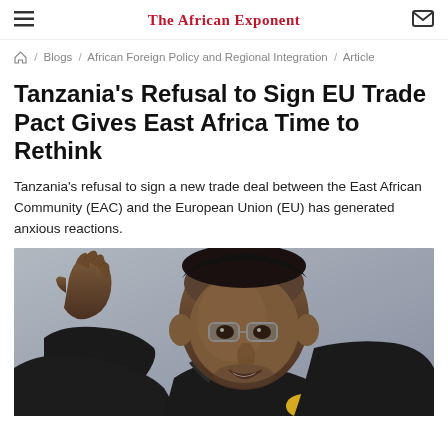The African Exponent
⌂ / Blogs / African Foreign Policy and Regional Integration / Article
Tanzania's Refusal to Sign EU Trade Pact Gives East Africa Time to Rethink
Tanzania's refusal to sign a new trade deal between the East African Community (EAC) and the European Union (EU) has generated anxious reactions.
[Figure (photo): A man in a suit raising his right hand, wearing glasses, speaking at a microphone. Appears to be a political figure or leader giving a speech.]